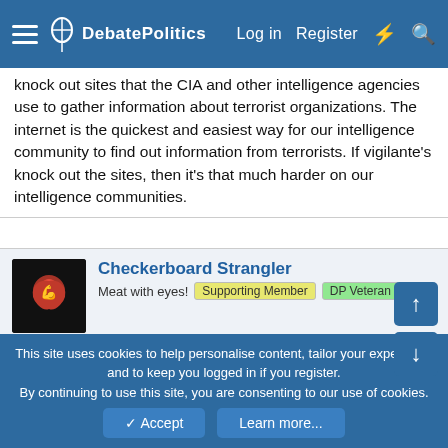DebatePolitics — Log in  Register
knock out sites that the CIA and other intelligence agencies use to gather information about terrorist organizations. The internet is the quickest and easiest way for our intelligence community to find out information from terrorists. If vigilante's knock out the sites, then it's that much harder on our intelligence communities.
Checkerboard Strangler
Meat with eyes!  Supporting Member  DP Veteran
Aug 9, 2005  #9
That's a given.
I wasnt referring to "physical" terrorist groups really.
This is an added problem on top of all the other ones.
In order for this country to address ANY problems we have to be able to...
This site uses cookies to help personalise content, tailor your experience and to keep you logged in if you register.
By continuing to use this site, you are consenting to our use of cookies.
Accept  Learn more...